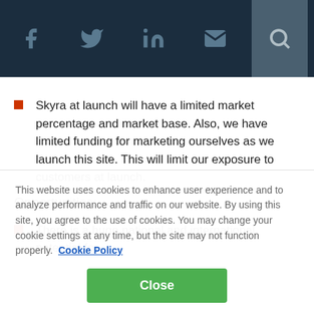[Figure (screenshot): Navigation bar with social media icons: Facebook, Twitter, LinkedIn, email/envelope, and a search icon on darker background section]
Skyra at launch will have a limited market percentage and market base. Also, we have limited funding for marketing ourselves as we launch this site.  This will limit our exposure to customers at launch.
Opportunities:
There is a huge national and international potential for
This website uses cookies to enhance user experience and to analyze performance and traffic on our website. By using this site, you agree to the use of cookies. You may change your cookie settings at any time, but the site may not function properly.  Cookie Policy
Close